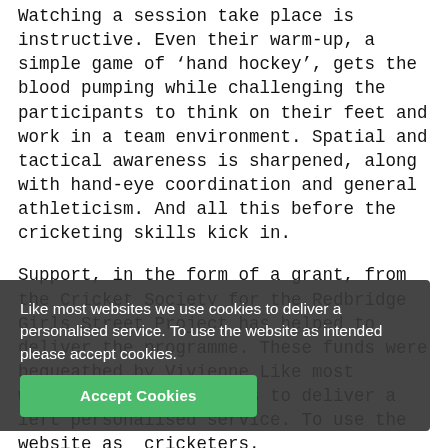Watching a session take place is instructive. Even their warm-up, a simple game of 'hand hockey', gets the blood pumping while challenging the participants to think on their feet and work in a team environment. Spatial and tactical awareness is sharpened, along with hand-eye coordination and general athleticism. And all this before the cricketing skills kick in.

Support, in the form of a grant, from the Cricket Society for the Redbridge Girls Street Project has helped to deliver the programme. These funds were bequeathed by Vivienne Leggatt, who loved cricket and left a great legacy. Vivienne's bequest was invested and the income is used to support young cricketers.

Along with supporting the delivery, they also included a £300 bursary per year to support girls looking to progress into club cricket. The girls have all made the leap to join Wanstead CC and have been awarded £100 worth of equipment as well as joining the club.
Like most websites we use cookies to deliver a personalised service. To use the website as intended please accept cookies.
Accept Cookies